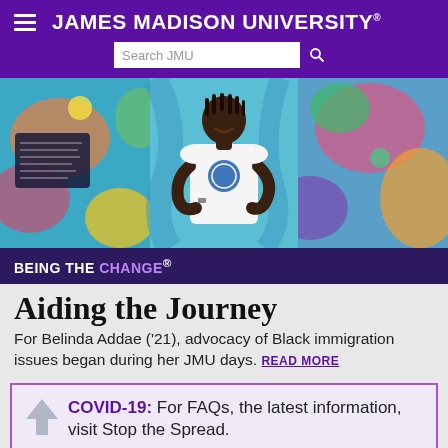JAMES MADISON UNIVERSITY
[Figure (photo): Young Black woman with arms crossed, smiling, standing in front of a colorful multicultural mural]
BEING THE CHANGE®
Aiding the Journey
For Belinda Addae ('21), advocacy of Black immigration issues began during her JMU days. READ MORE
COVID-19: For FAQs, the latest information, visit Stop the Spread.